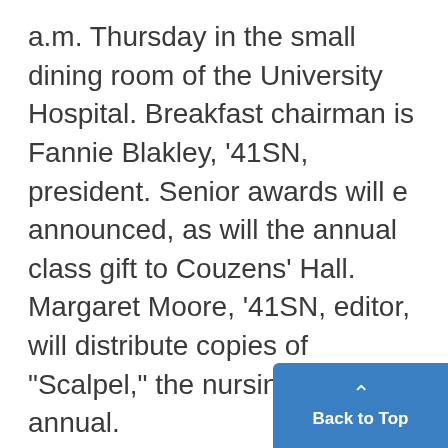a.m. Thursday in the small dining room of the University Hospital. Breakfast chairman is Fannie Blakley, '41SN, president. Senior awards will e announced, as will the annual class gift to Couzens' Hall. Margaret Moore, '41SN, editor, will distribute copies of "Scalpel," the nursing school annual.
"Magna Cum Laude" Pins
Featured, also, will be the presentation of the "Magna cum laude" pins, by Miss Rhoda Reddig, dir of theschool. Two are given each